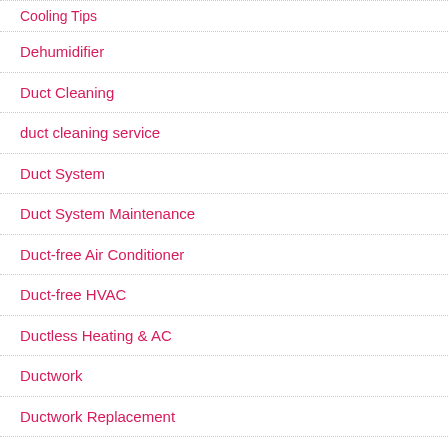Cooling Tips
Dehumidifier
Duct Cleaning
duct cleaning service
Duct System
Duct System Maintenance
Duct-free Air Conditioner
Duct-free HVAC
Ductless Heating & AC
Ductwork
Ductwork Replacement